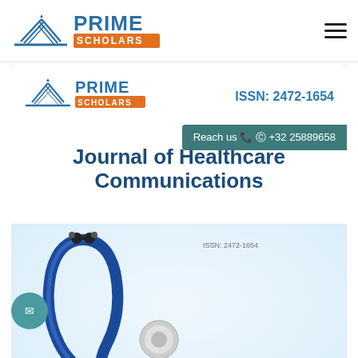[Figure (logo): Prime Scholars logo with open book and text in blue and orange]
[Figure (illustration): Hamburger/menu icon (three horizontal lines)]
[Figure (illustration): Journal of Healthcare Communications cover card featuring Prime Scholars logo, ISSN: 2472-1654, Reach us contact +32 25889658, journal title in dark blue, and stethoscope photograph with teal/blue spheres on white background]